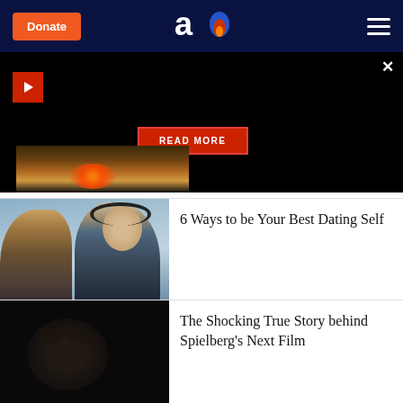Donate | AO logo | Menu
[Figure (screenshot): Dark video overlay section with play button, close X button, and READ MORE button in red]
[Figure (photo): Partial article thumbnail image with fire/explosion in field at bottom of video section]
[Figure (photo): Thumbnail photo of two young people on a train or bus, a girl and a boy facing each other]
6 Ways to be Your Best Dating Self
[Figure (photo): Dark thumbnail photo of a person's face partially visible]
The Shocking True Story behind Spielberg’s Next Film